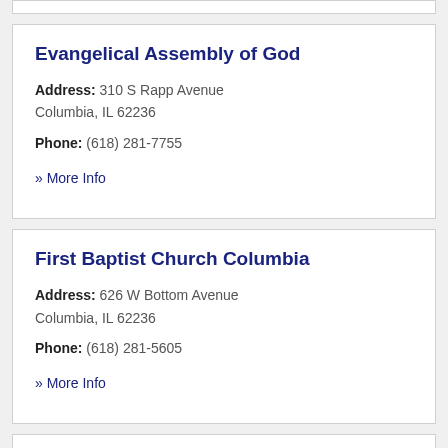Evangelical Assembly of God
Address: 310 S Rapp Avenue Columbia, IL 62236
Phone: (618) 281-7755
» More Info
First Baptist Church Columbia
Address: 626 W Bottom Avenue Columbia, IL 62236
Phone: (618) 281-5605
» More Info